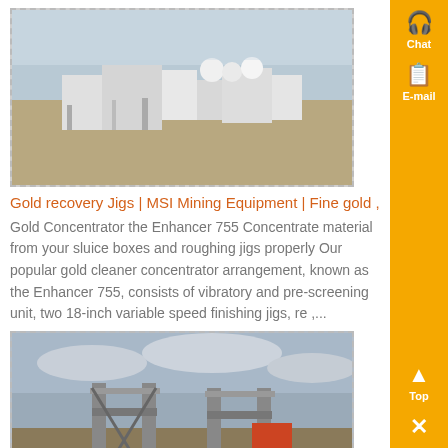[Figure (photo): Aerial view of a mining facility with industrial buildings and equipment spread across a large open area under a hazy sky]
Gold recovery Jigs | MSI Mining Equipment | Fine gold ,
Gold Concentrator the Enhancer 755 Concentrate material from your sluice boxes and roughing jigs properly Our popular gold cleaner concentrator arrangement, known as the Enhancer 755, consists of vibratory and pre-screening unit, two 18-inch variable speed finishing jigs, re ,...
[Figure (photo): Construction site with metal structural columns and framework on open ground under a cloudy sky]